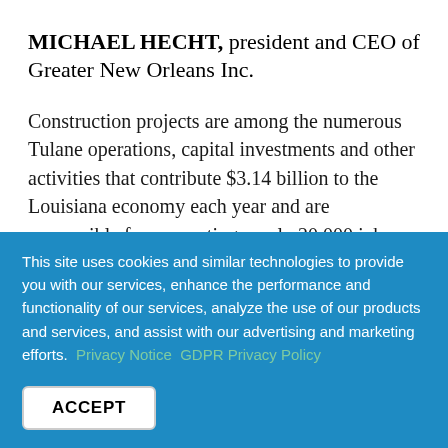MICHAEL HECHT, president and CEO of Greater New Orleans Inc.
Construction projects are among the numerous Tulane operations, capital investments and other activities that contribute $3.14 billion to the Louisiana economy each year and are responsible for supporting nearly 20,000 jobs statewide, according to a recent economic
This site uses cookies and similar technologies to provide you with our services, enhance the performance and functionality of our services, analyze the use of our products and services, and assist with our advertising and marketing efforts. Privacy Notice GDPR Privacy Policy